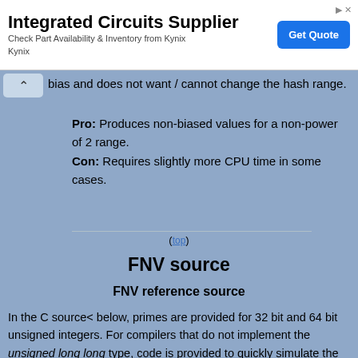[Figure (other): Advertisement banner for Integrated Circuits Supplier - Kynix, with Get Quote button]
bias and does not want / cannot change the hash range.
Pro: Produces non-biased values for a non-power of 2 range.
Con: Requires slightly more CPU time in some cases.
(top)
FNV source
FNV reference source
In the C source< below, primes are provided for 32 bit and 64 bit unsigned integers. For compilers that do not implement the unsigned long long type, code is provided to quickly simulate the 64 bit multiply by the particular FNV_prime.